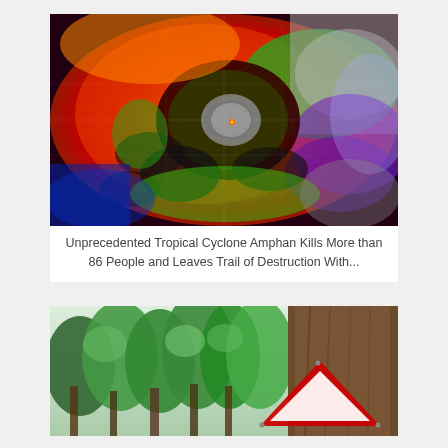[Figure (photo): Satellite thermal image of Tropical Cyclone Amphan showing the eye of the storm with red, orange, green, blue and grey color bands]
Unprecedented Tropical Cyclone Amphan Kills More than 86 People and Leaves Trail of Destruction With...
[Figure (photo): Forest of tall trees with green foliage and a triangular red warning road sign visible against a large tree trunk on the right]